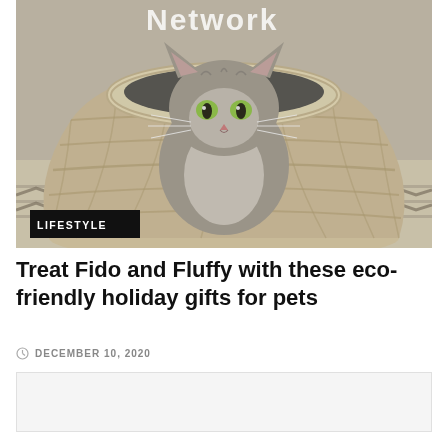[Figure (photo): A gray tabby cat sitting inside a large woven seagrass basket, looking directly at the camera. The basket has a circular opening and braided texture. Background shows a patterned rug. 'Network' text is partially visible at the top of the image overlay.]
LIFESTYLE
Treat Fido and Fluffy with these eco-friendly holiday gifts for pets
DECEMBER 10, 2020
[Figure (other): Advertisement placeholder box]